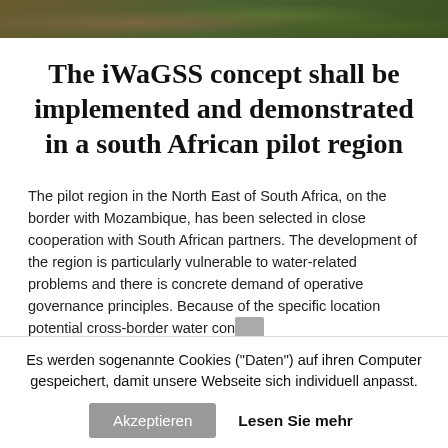[Figure (photo): Photo strip at top showing vegetation/landscape]
The iWaGSS concept shall be implemented and demonstrated in a south African pilot region
The pilot region in the North East of South Africa, on the border with Mozambique, has been selected in close cooperation with South African partners. The development of the region is particularly vulnerable to water-related problems and there is concrete demand of operative governance principles. Because of the specific location potential cross-border water conflicts
Es werden sogenannte Cookies ("Daten") auf ihren Computer gespeichert, damit unsere Webseite sich individuell anpasst.
Akzeptieren   Lesen Sie mehr